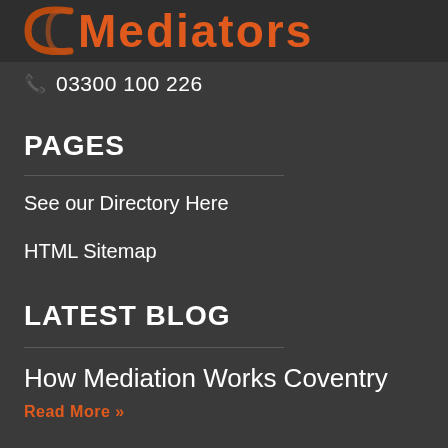[Figure (logo): Mediators logo with orange arc icon and orange text 'Mediators']
📞 03300 100 226
PAGES
See our Directory Here
HTML Sitemap
LATEST BLOG
How Mediation Works Coventry
Read More »